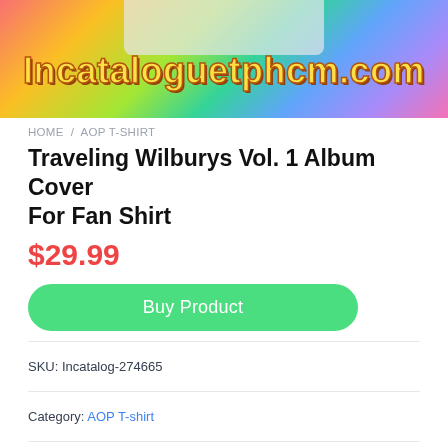[Figure (photo): Website banner with rainbow gradient background and the text 'Incataloguetphcm.com' in bold yellow outlined font, with a t-shirt visible at the top]
HOME / AOP T-SHIRT
Traveling Wilburys Vol. 1 Album Cover For Fan Shirt
$29.99
Buy Product
SKU: Incatalog-274665
Category: AOP T-shirt
Tags: 3D T-shirt, All Over Print T-shirt, Hoodie, Sweatshirt
The material and fit of this t-shirt is very comfortable. Premium stretch material also sets the stage with a unique soft three-layer construction, modern fit, crew